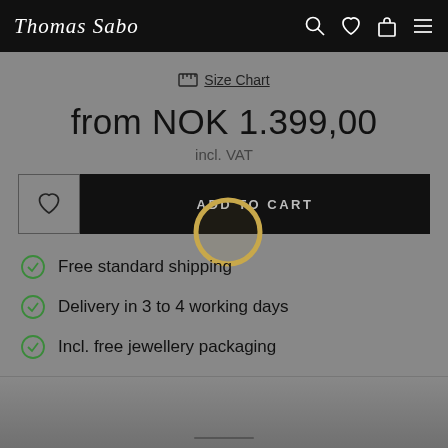Thomas Sabo
Size Chart
from NOK 1.399,00
incl. VAT
ADD TO CART
Free standard shipping
Delivery in 3 to 4 working days
Incl. free jewellery packaging
[Figure (photo): Bottom area showing a ring product image partially visible]